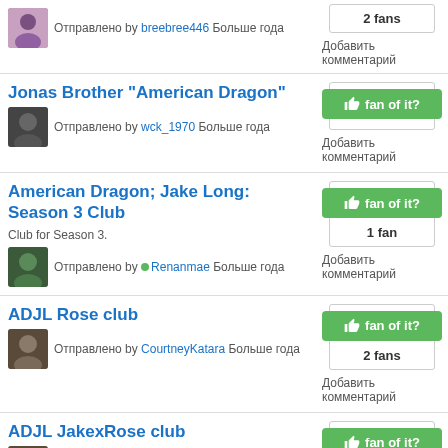2 fans
Добавить комментарий
Отправлено by breebree446 Больше года
Jonas Brother "American Dragon"
Отправлено by wck_1970 Больше года
Добавить комментарий
American Dragon; Jake Long: Season 3 Club
Club for Season 3.
Отправлено by Renanmae Больше года
1 fan
Добавить комментарий
ADJL Rose club
Отправлено by CourtneyKatara Больше года
2 fans
Добавить комментарий
ADJL JakexRose club
Отправлено by CourtneyKatara Больше года
2 fans
Добавить комментарий
American Dragon: Jake Long Pics
Some pics I copied from American Dragon: Jake Long